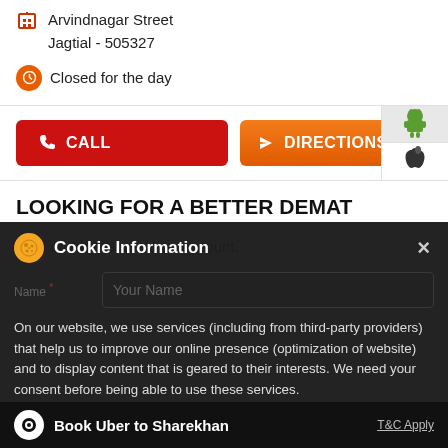Arvindnagar Street
Jagtial - 505327
Closed for the day
CALL
DIRECTIONS
[Figure (logo): Android robot icon]
[Figure (logo): Apple logo icon]
LOOKING FOR A BETTER DEMAT
Sign up for a Sharekhan account.
Cookie Information
On our website, we use services (including from third-party providers) that help us to improve our online presence (optimization of website) and to display content that is geared to their interests. We need your consent before being able to use these services.
Book Uber to Sharekhan
T&C Apply